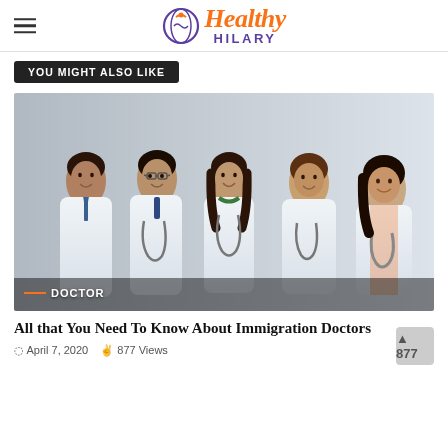Healthy HILARY
YOU MIGHT ALSO LIKE
[Figure (photo): Five smiling medical professionals in white lab coats with stethoscopes, posed together — three men and two women of diverse ethnicities. Label 'DOCTOR' appears in the lower left corner of the image.]
All that You Need To Know About Immigration Doctors
April 7, 2020   877 Views